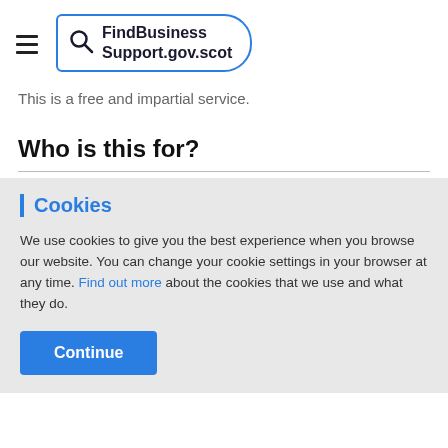FindBusinessSupport.gov.scot
This is a free and impartial service.
Who is this for?
Cookies
We use cookies to give you the best experience when you browse our website. You can change your cookie settings in your browser at any time. Find out more about the cookies that we use and what they do.
Continue